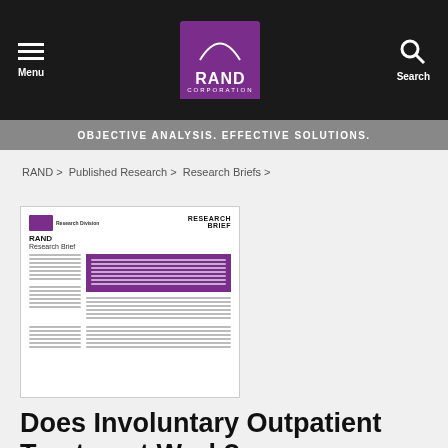Menu | RAND Corporation | Search
OBJECTIVE ANALYSIS. EFFECTIVE SOLUTIONS.
RAND > Published Research > Research Briefs >
[Figure (screenshot): Thumbnail preview of a RAND Research Brief document cover page]
Does Involuntary Outpatient Treatment Work?